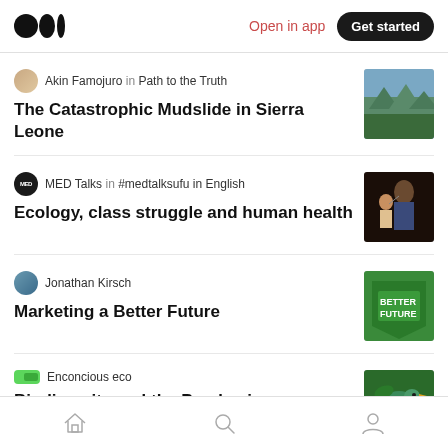Medium logo | Open in app | Get started
Akin Famojuro in Path to the Truth
The Catastrophic Mudslide in Sierra Leone
MED Talks in #medtalksufu in English
Ecology, class struggle and human health
Jonathan Kirsch
Marketing a Better Future
Enconcious eco
Biodiversity and the Pandemic
Home | Search | Profile